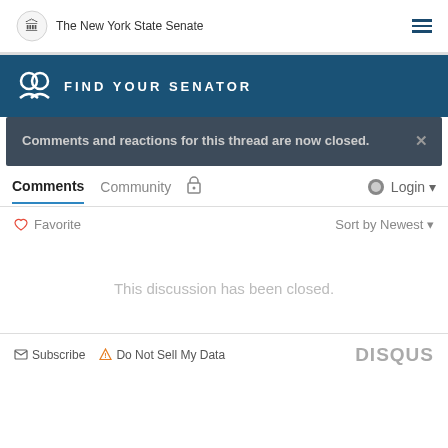The New York State Senate
FIND YOUR SENATOR
Comments and reactions for this thread are now closed.
Comments  Community  Login
Favorite  Sort by Newest
This discussion has been closed.
Subscribe  Do Not Sell My Data  DISQUS